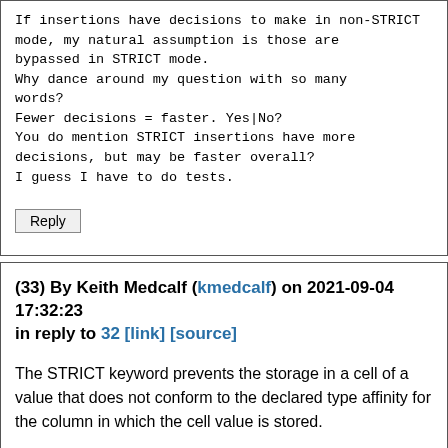If insertions have decisions to make in non-STRICT mode, my natural assumption is those are bypassed in STRICT mode.
Why dance around my question with so many words?
Fewer decisions = faster. Yes|No?
You do mention STRICT insertions have more decisions, but may be faster overall?
I guess I have to do tests.
Reply
(33) By Keith Medcalf (kmedcalf) on 2021-09-04 17:32:23 in reply to 32 [link] [source]
The STRICT keyword prevents the storage in a cell of a value that does not conform to the declared type affinity for the column in which the cell value is stored.
THe STRICT keyword prevents the use of gibberish type declarations in which heuristics are used to guess the column affinity. Rather, the type declaration of a column must be a specific datatype.
The STRICT keyword prohibits NULL in components of a